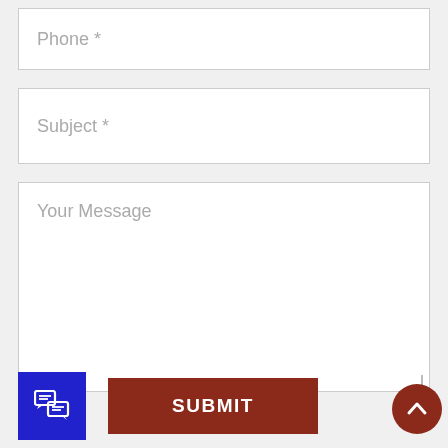Phone *
Subject *
Your Message
SUBMIT